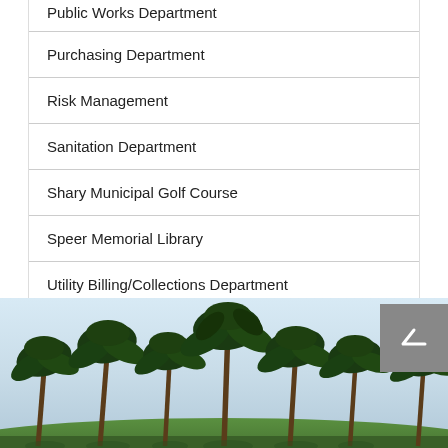Public Works Department
Purchasing Department
Risk Management
Sanitation Department
Shary Municipal Golf Course
Speer Memorial Library
Utility Billing/Collections Department
[Figure (photo): Row of palm trees against a light blue sky with green grass in the foreground]